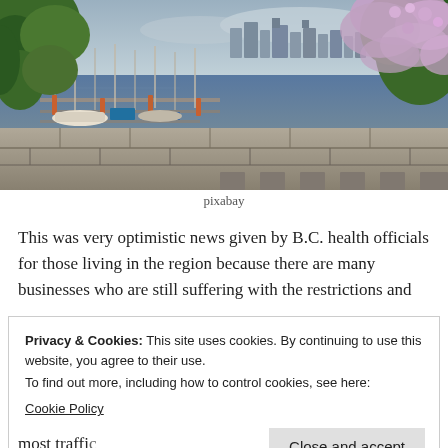[Figure (photo): Photograph of a marina with boats and docks, city skyline in background under overcast sky, stone wall in foreground, green foliage on left and pink/purple flowering tree on right]
pixabay
This was very optimistic news given by B.C. health officials for those living in the region because there are many businesses who are still suffering with the restrictions and
Privacy & Cookies: This site uses cookies. By continuing to use this website, you agree to their use.
To find out more, including how to control cookies, see here:
Cookie Policy
Close and accept
most traffic